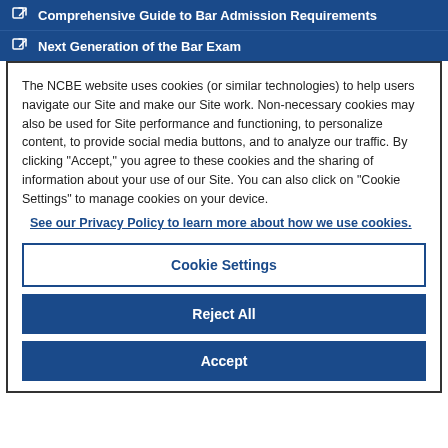Comprehensive Guide to Bar Admission Requirements
Next Generation of the Bar Exam
The NCBE website uses cookies (or similar technologies) to help users navigate our Site and make our Site work. Non-necessary cookies may also be used for Site performance and functioning, to personalize content, to provide social media buttons, and to analyze our traffic. By clicking "Accept," you agree to these cookies and the sharing of information about your use of our Site. You can also click on "Cookie Settings" to manage cookies on your device.
See our Privacy Policy to learn more about how we use cookies.
Cookie Settings
Reject All
Accept